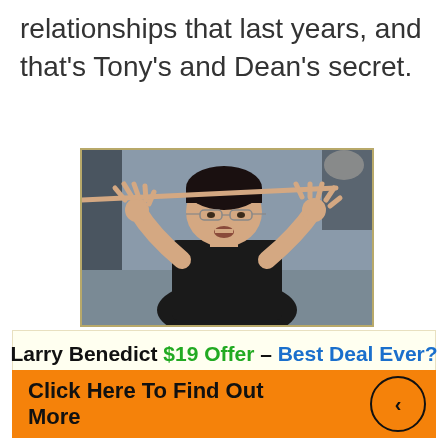relationships that last years, and that's Tony's and Dean's secret.
[Figure (photo): A man with dark hair wearing glasses and a dark tank top, gesturing with both hands raised, fingers spread, against a blurred indoor background]
Larry Benedict $19 Offer – Best Deal Ever?
Click Here To Find Out More